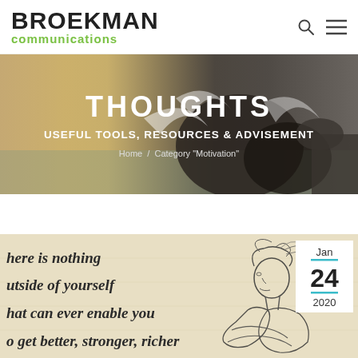BROEKMAN communications
THOUGHTS
USEFUL TOOLS, RESOURCES & ADVISEMENT
Home / Category "Motivation"
[Figure (photo): Coastal scene with rocky outcrop and ocean waves, used as hero banner background image]
[Figure (illustration): Motivational quote card with beige/parchment background showing text 'there is nothing outside of yourself that can ever enable you to get better, stronger, richer' with a pencil sketch of a woman's profile on the right side. Date badge shows Jan 24 2020.]